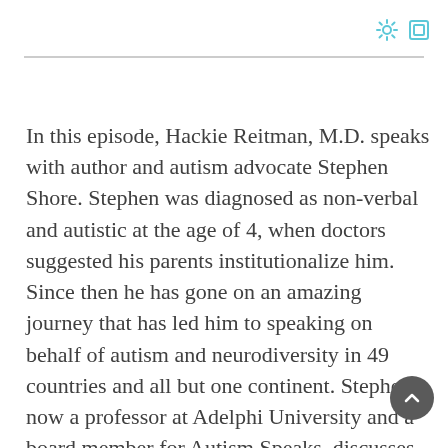In this episode, Hackie Reitman, M.D. speaks with author and autism advocate Stephen Shore. Stephen was diagnosed as non-verbal and autistic at the age of 4, when doctors suggested his parents institutionalize him. Since then he has gone on an amazing journey that has led him to speaking on behalf of autism and neurodiversity in 49 countries and all but one continent. Stephen, now a professor at Adelphi University and a board member for Autism Speaks, discusses his inspiring story, hi work as an author, and how he uses music to teach